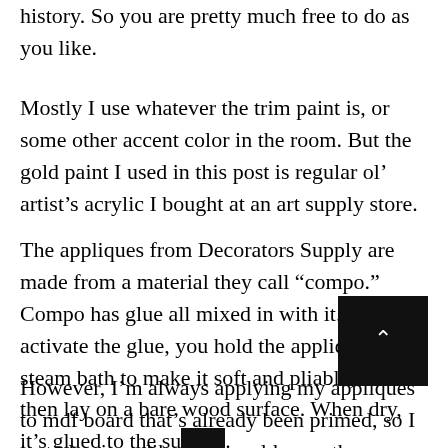history. So you are pretty much free to do as you like.
Mostly I use whatever the trim paint is, or some other accent color in the room. But the gold paint I used in this post is regular ol' artist's acrylic I bought at an art supply store.
The appliques from Decorators Supply are made from a material they call “compo.” Compo has glue all mixed in with it. To activate the glue, you hold the applique over a steam bath to make it soft and pliable, and then lay on a bare wood surface. When dry, it’s glued to the surface.
However, I’m always applying my appliques to mdf board that’s already been primed, so I just glue it on like you would any other ornament